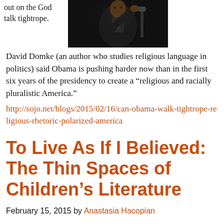out on the God talk tightrope.
[Figure (photo): Black and white photo of a man in a dark suit speaking at a podium or microphone, gesturing with his hand, dark background]
David Domke (an author who studies religious language in politics) said Obama is pushing harder now than in the first six years of the presidency to create a “religious and racially pluralistic America.”
http://sojo.net/blogs/2015/02/16/can-obama-walk-tightrope-religious-rhetoric-polarized-america
To Live As If I Believed: The Thin Spaces of Children’s Literature
February 15, 2015 by Anastasia Hacopian